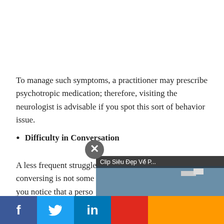To manage such symptoms, a practitioner may prescribe psychotropic medication; therefore, visiting the neurologist is advisable if you spot this sort of behavior issue.
Difficulty in Conversation
[Figure (screenshot): Close button (X) overlay circle above a video player thumbnail]
A less frequent struggle to find... conversing is not some... you notice that a perso... words, so much so that... communicate with them...
[Figure (screenshot): Video player overlay showing 'Clip Siêu Đẹp Về P...' with a play button, partially covering the article text]
[Figure (screenshot): Social media share bar at bottom showing Facebook, Twitter, LinkedIn, and other icons]